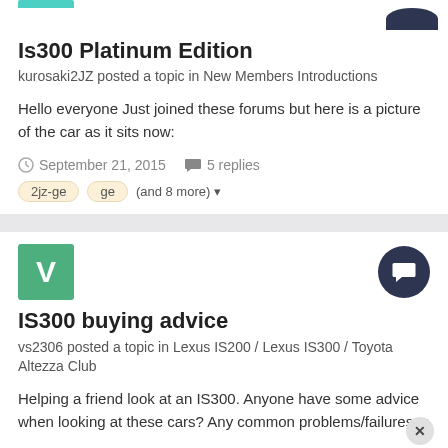Is300 Platinum Edition
kurosaki2JZ posted a topic in New Members Introductions
Hello everyone Just joined these forums but here is a picture of the car as it sits now:
September 21, 2015   5 replies
2jz-ge   ge   (and 8 more)
IS300 buying advice
vs2306 posted a topic in Lexus IS200 / Lexus IS300 / Toyota Altezza Club
Helping a friend look at an IS300. Anyone have some advice when looking at these cars? Any common problems/failures to
October 13, 2016   1 reply   is300   2jz